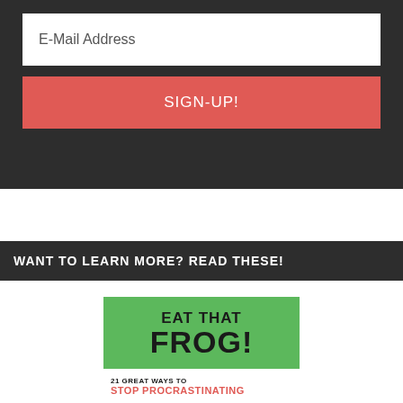E-Mail Address
SIGN-UP!
WANT TO LEARN MORE? READ THESE!
[Figure (illustration): Book cover for 'Eat That Frog! 21 Great Ways to Stop Procrastinating' with green background, bold black title text and red subtitle text]